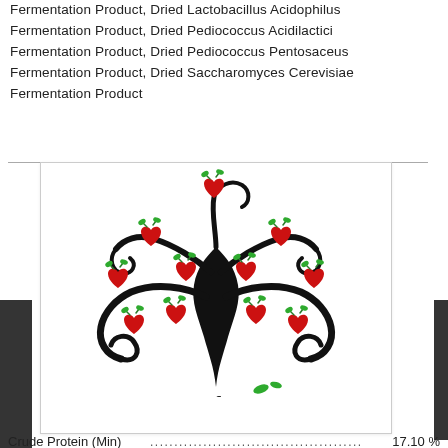Fermentation Product, Dried Lactobacillus Acidophilus Fermentation Product, Dried Pediococcus Acidilactici Fermentation Product, Dried Pediococcus Pentosaceus Fermentation Product, Dried Saccharomyces Cerevisiae Fermentation Product
[Figure (illustration): Decorative illustration of a stylized black tree with red heart-shaped apples and green leaves, with the word 'Analysis' written in italic script beneath it.]
Crude Protein (Min) .................................... 17.10 %
Crude Fat (Min) .................................... 6.95 %